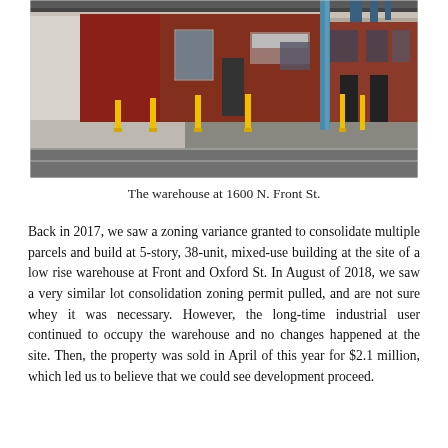[Figure (photo): Street-level photograph of a low-rise red brick warehouse building at 1600 N. Front St., with yellow bollards along the sidewalk and an elevated structure visible overhead.]
The warehouse at 1600 N. Front St.
Back in 2017, we saw a zoning variance granted to consolidate multiple parcels and build at 5-story, 38-unit, mixed-use building at the site of a low rise warehouse at Front and Oxford St. In August of 2018, we saw a very similar lot consolidation zoning permit pulled, and are not sure whey it was necessary. However, the long-time industrial user continued to occupy the warehouse and no changes happened at the site. Then, the property was sold in April of this year for $2.1 million, which led us to believe that we could see development proceed.